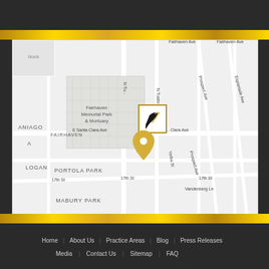[Figure (map): Google Maps showing location near Fairhaven Memorial Park & Mortuary, E Santa Clara Ave, with neighborhoods labeled SANTIAGO FAIRHAVEN, PORTOLA PARK, MABURY PARK, LOGAN. A gold/black logo marker and a gold location pin are visible on N Tustin Ave near E Santa Clara Ave. Street labels include 17th St, Vandenberg Ln, Prospect Ave, Esplanade Ave, Fairhaven Ave, Yerba St.]
Home   About Us   Practice Areas   Blog   Press Releases   Media   Contact Us   Sitemap   FAQ